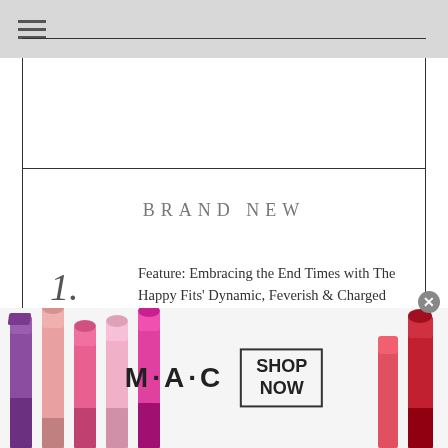BRAND NEW
1. Feature: Embracing the End Times with The Happy Fits' Dynamic, Feverish & Charged Third LP 'Under the Shade of Green'
[Figure (photo): MAC cosmetics advertisement banner showing lipsticks in purple, pink, and red shades, MAC logo text, and a 'SHOP NOW' button in a bordered box]